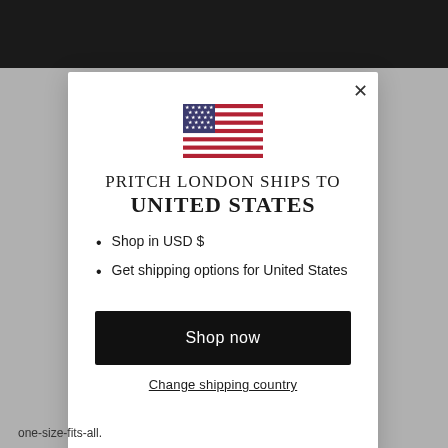[Figure (screenshot): Modal dialog from Pritch London website showing shipping country selector with US flag, title, bullet points, shop now button, and change shipping country link]
PRITCH LONDON SHIPS TO UNITED STATES
Shop in USD $
Get shipping options for United States
Shop now
Change shipping country
one-size-fits-all.